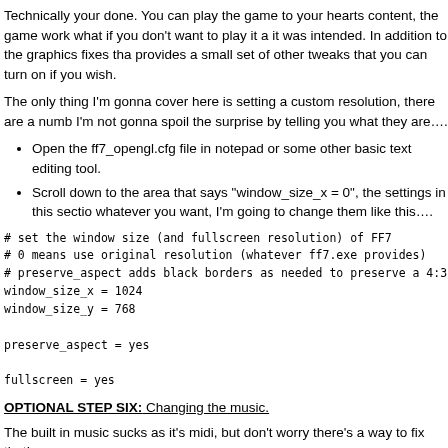Technically your done. You can play the game to your hearts content, the game work what if you don't want to play it a it was intended. In addition to the graphics fixes tha provides a small set of other tweaks that you can turn on if you wish.
The only thing I'm gonna cover here is setting a custom resolution, there are a numb I'm not gonna spoil the surprise by telling you what they are….
Open the ff7_opengl.cfg file in notepad or some other basic text editing tool.
Scroll down to the area that says "window_size_x = 0", the settings in this sectio whatever you want, I'm going to change them like this….
OPTIONAL STEP SIX: Changing the music.
The built in music sucks as it's midi, but don't worry there's a way to fix that!
The folks over at the Qhimm forums have been working on this one for a while, but b midi music and plays the original PSX version of the music in the background. It chec and what song is supposed to be playing, then it plays the appropriate song. The bes to play whatever you want.